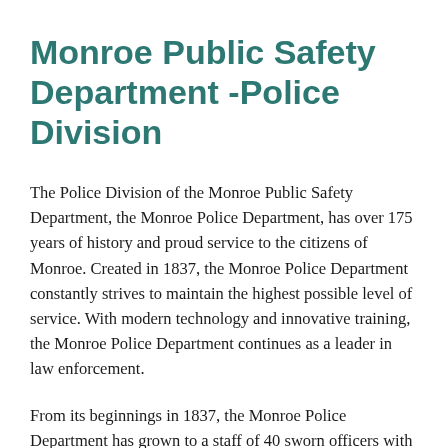Monroe Public Safety Department -Police Division
The Police Division of the Monroe Public Safety Department, the Monroe Police Department, has over 175 years of history and proud service to the citizens of Monroe. Created in 1837, the Monroe Police Department constantly strives to maintain the highest possible level of service. With modern technology and innovative training, the Monroe Police Department continues as a leader in law enforcement.
From its beginnings in 1837, the Monroe Police Department has grown to a staff of 40 sworn officers with 10 civilian support personnel. Civilians are utilized to maintain records, parking enforcement...